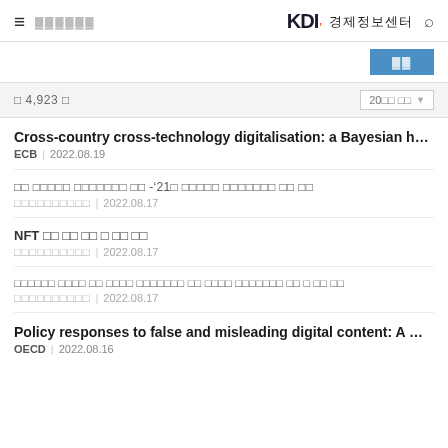KDI 경제정보센터
총 4,923 건
Cross-country cross-technology digitalisation: a Bayesian h... | ECB | 2022.08.19
한국 디지털경제 전환현황과 해외사례비교 분석 -'21년 기준 디지털경제 전환현황과 해외사례비교 분석 결과 보고 | 한국정보화진흥원 | 2022.08.17
NFT 거래 관련 법적 쟁점 및 정책 방향 | 한국정보화진흥원 | 2022.08.17
인공지능기반 데이터 분석을 통한 주거환경 개선사업의 추진 현황 및 문제점 분석을 통한 사업추진 효율화 방안 연구 | 한국정보화진흥원 | 2022.08.17
Policy responses to false and misleading digital content: A ... | OECD | 2022.08.16